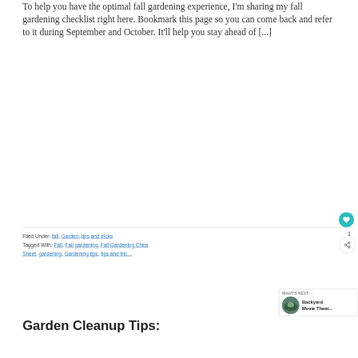To help you have the optimal fall gardening experience, I'm sharing my fall gardening checklist right here. Bookmark this page so you can come back and refer to it during September and October. It'll help you stay ahead of [...]
Filed Under: fall, Garden, tips and tricks
Tagged With: Fall, Fall gardening, Fall Gardening Cheat Sheet, gardening, Gardening tips, tips and tricks
[Figure (other): What's Next widget showing Backyard Movie Theat... with thumbnail image]
Garden Cleanup Tips: